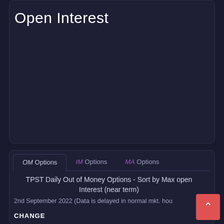Open Interest
[Figure (other): Empty dark chart area for Open Interest graph]
OM Options | IM Options | MA Options
TPST Daily Out of Money Options - Sort by Max open Interest (near term)
2nd September 2022 (Data is delayed in normal mkt. hours)
CHANGE